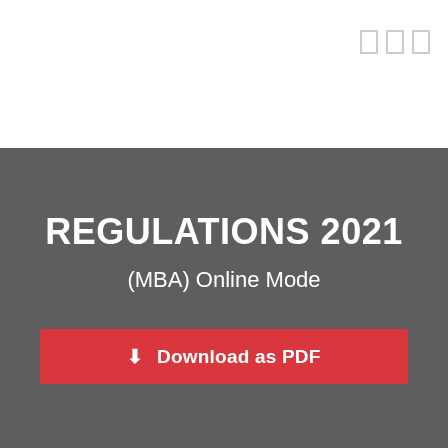[Figure (other): Three small rectangular nav icons in the top-right corner of a white header area]
REGULATIONS 2021
(MBA) Online Mode
⬇ Download as PDF